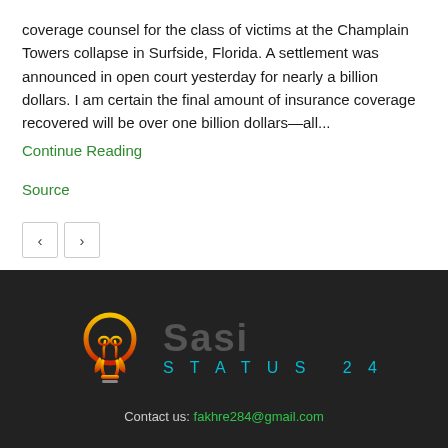coverage counsel for the class of victims at the Champlain Towers collapse in Surfside, Florida. A settlement was announced in open court yesterday for nearly a billion dollars. I am certain the final amount of insurance coverage recovered will be over one billion dollars—all...
Continue Reading
Source
[Figure (logo): Status 24 logo: a lightbulb icon with gradient from yellow to red-orange, beside large grey text 'Sasi' and teal spaced text 'STATUS 24']
Contact us: fakhre284@gmail.com